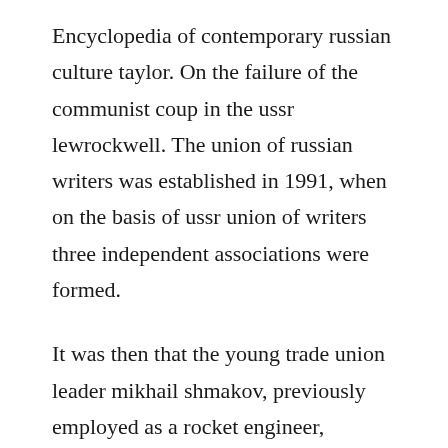Encyclopedia of contemporary russian culture taylor. On the failure of the communist coup in the ussr lewrockwell. The union of russian writers was established in 1991, when on the basis of ussr union of writers three independent associations were formed.
It was then that the young trade union leader mikhail shmakov, previously employed as a rocket engineer, managed to gain standing among russian leaders and head the new organization, which. As chairman of the presidium of the supreme soviet of the rsfsr